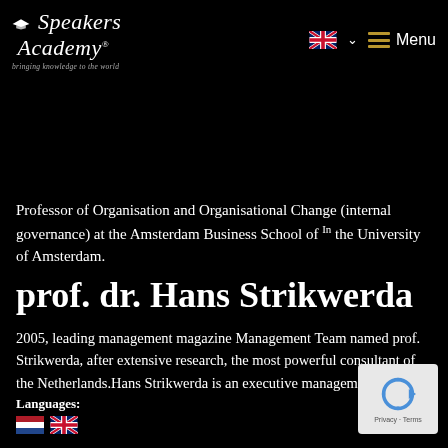[Figure (logo): Speakers Academy logo with graduation cap icon, italic serif text 'Speakers Academy' with registered trademark symbol, tagline 'bringing knowledge to the world']
[Figure (other): UK flag with dropdown chevron for language selection, and hamburger menu icon with 'Menu' text]
Professor of Organisation and Organisational Change (internal governance) at the Amsterdam Business School of In the University of Amsterdam.
prof. dr. Hans Strikwerda
2005, leading management magazine Management Team named prof. Strikwerda, after extensive research, the most powerful consultant of the Netherlands.Hans Strikwerda is an executive management...
Languages:
[Figure (other): Dutch flag and UK flag icons for language selection]
[Figure (other): Google reCAPTCHA widget with circular arrow icon and Privacy/Terms links]